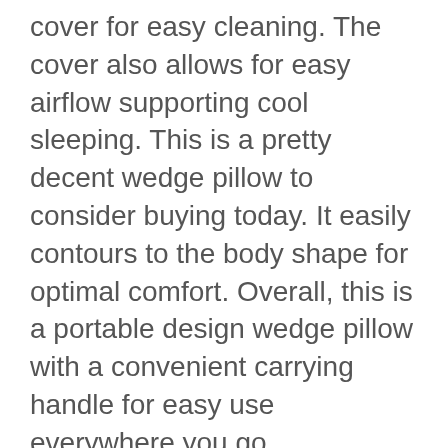cover for easy cleaning. The cover also allows for easy airflow supporting cool sleeping. This is a pretty decent wedge pillow to consider buying today. It easily contours to the body shape for optimal comfort. Overall, this is a portable design wedge pillow with a convenient carrying handle for easy use everywhere you go.
Specifications
Easy to clean due to a machine washable cover
Convenient carrying handle hence portable
High-density foam that contours to